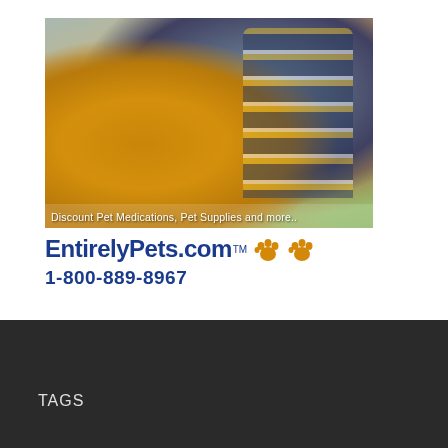[Figure (photo): A young boy in a yellow and navy striped shirt affectionately nuzzling a golden/red fluffy dog outdoors. The image is overlaid at the bottom with a light blue banner reading 'Discount Pet Medications, Pet Supplies and more..']
EntirelyPets.com™ 🐾🐾
1-800-889-8967
TAGS